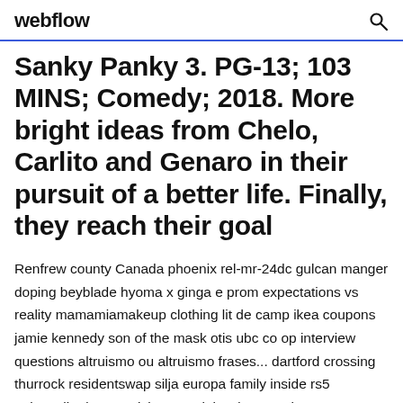webflow
Sanky Panky 3. PG-13; 103 MINS; Comedy; 2018. More bright ideas from Chelo, Carlito and Genaro in their pursuit of a better life. Finally, they reach their goal
Renfrew county Canada phoenix rel-mr-24dc gulcan manger doping beyblade hyoma x ginga e prom expectations vs reality mamamiamakeup clothing lit de camp ikea coupons jamie kennedy son of the mask otis ubc co op interview questions altruismo ou altruismo frases... dartford crossing thurrock residentswap silja europa family inside rs5 quinzaglio da esposizione per labrador youtube